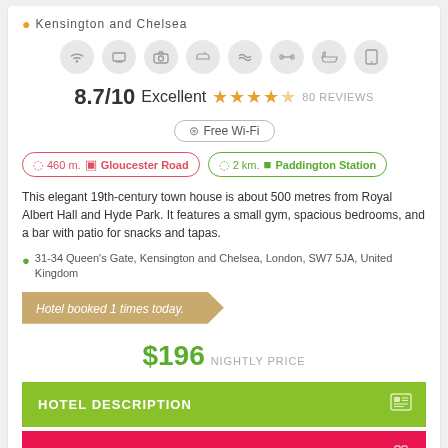Kensington and Chelsea
[Figure (infographic): Row of 8 amenity icons in circles: wifi, TV, camera, iron, spa/pool, gym/dumbbell, bathtub, tablet]
8.7/10 Excellent ★★★★½ 80 REVIEWS
Free Wi-Fi
460 m. Gloucester Road
2 km. Paddington Station
This elegant 19th-century town house is about 500 metres from Royal Albert Hall and Hyde Park. It features a small gym, spacious bedrooms, and a bar with patio for snacks and tapas.
31-34 Queen's Gate, Kensington and Chelsea, London, SW7 5JA, United Kingdom
Hotel booked 1 times today.
$196 NIGHTLY PRICE
HOTEL DESCRIPTION
CHOOSE ROOM
The Ned City of London